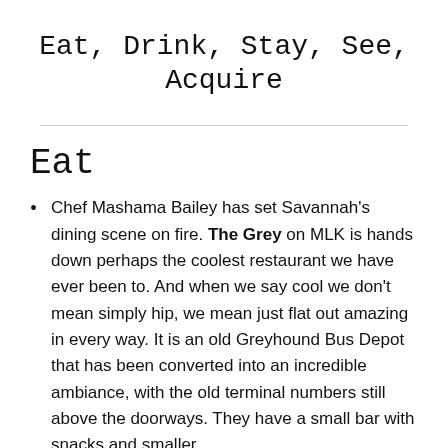Eat, Drink, Stay, See, Acquire
Eat
Chef Mashama Bailey has set Savannah’s dining scene on fire. The Grey on MLK is hands down perhaps the coolest restaurant we have ever been to. And when we say cool we don’t mean simply hip, we mean just flat out amazing in every way. It is an old Greyhound Bus Depot that has been converted into an incredible ambiance, with the old terminal numbers still above the doorways. They have a small bar with snacks and smaller